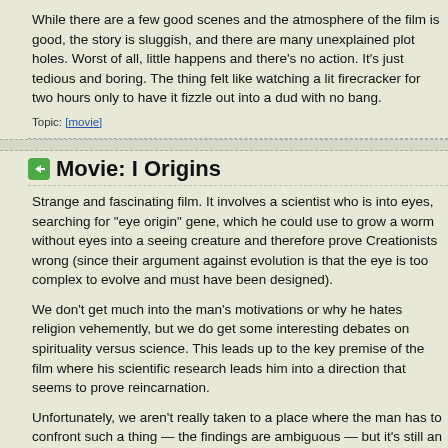While there are a few good scenes and the atmosphere of the film is good, the story is sluggish, and there are many unexplained plot holes. Worst of all, little happens and there's no action. It's just tedious and boring. The thing felt like watching a lit firecracker for two hours only to have it fizzle out into a dud with no bang.
Topic: [movie]
Movie: I Origins
Strange and fascinating film. It involves a scientist who is into eyes, searching for "eye origin" gene, which he could use to grow a worm without eyes into a seeing creature and therefore prove Creationists wrong (since their argument against evolution is that the eye is too complex to evolve and must have been designed).
We don't get much into the man's motivations or why he hates religion vehemently, but we do get some interesting debates on spirituality versus science. This leads up to the key premise of the film where his scientific research leads him into a direction that seems to prove reincarnation.
Unfortunately, we aren't really taken to a place where the man has to confront such a thing — the findings are ambiguous — but it's still an interesting ride. I wouldn't call this a great film, as it is slow in places...